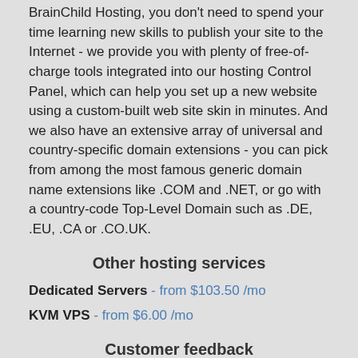BrainChild Hosting, you don't need to spend your time learning new skills to publish your site to the Internet - we provide you with plenty of free-of-charge tools integrated into our hosting Control Panel, which can help you set up a new website using a custom-built web site skin in minutes. And we also have an extensive array of universal and country-specific domain extensions - you can pick from among the most famous generic domain name extensions like .COM and .NET, or go with a country-code Top-Level Domain such as .DE, .EU, .CA or .CO.UK.
Other hosting services
Dedicated Servers - from $103.50 /mo
KVM VPS - from $6.00 /mo
Customer feedback
Samantha S.